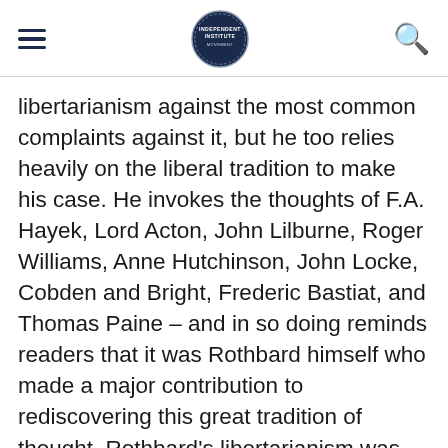[hamburger menu] [IndependentInstitute logo] [search icon]
libertarianism against the most common complaints against it, but he too relies heavily on the liberal tradition to make his case. He invokes the thoughts of F.A. Hayek, Lord Acton, John Lilburne, Roger Williams, Anne Hutchinson, John Locke, Cobden and Bright, Frederic Bastiat, and Thomas Paine – and in so doing reminds readers that it was Rothbard himself who made a major contribution to rediscovering this great tradition of thought. Rothbard's libertarianism was neither detached nor isolated from this tradition but rather a crystallization and perhaps systematization of it. The point is that Rothbard never